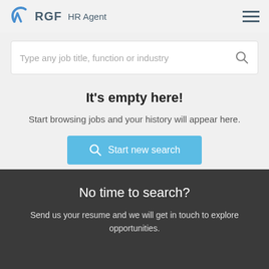[Figure (logo): RGF HR Agent logo with blue swirl icon and text]
Type any job title, function or industry
It's empty here!
Start browsing jobs and your history will appear here.
Start new search
No time to search?
Send us your resume and we will get in touch to explore opportunities.